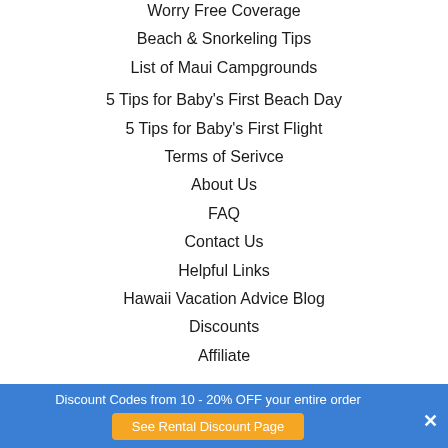Worry Free Coverage
Beach & Snorkeling Tips
List of Maui Campgrounds
5 Tips for Baby's First Beach Day
5 Tips for Baby's First Flight
Terms of Serivce
About Us
FAQ
Contact Us
Helpful Links
Hawaii Vacation Advice Blog
Discounts
Affiliate
Discount Codes from 10 - 20% OFF your entire order
See Rental Discount Page